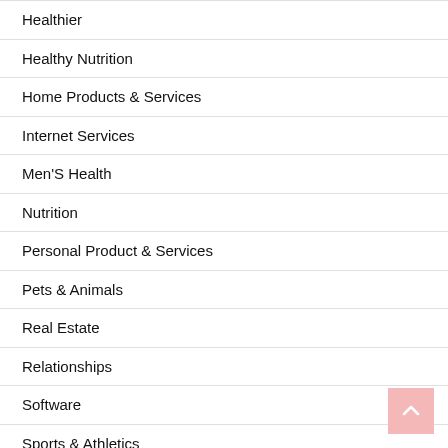Healthier
Healthy Nutrition
Home Products & Services
Internet Services
Men'S Health
Nutrition
Personal Product & Services
Pets & Animals
Real Estate
Relationships
Software
Sports & Athletics
Technology